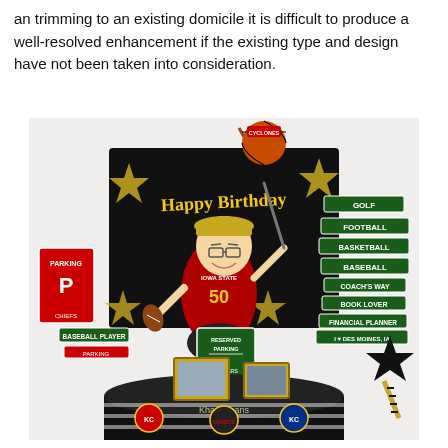an trimming to an existing domicile it is difficult to produce a well-resolved enhancement if the existing type and design have not been taken into consideration.
[Figure (photo): A decorative birthday centerpiece featuring a cartoon caricature of a man wearing an Iowa State jersey number 50 and a yellow cap, holding a football and a golf club. Surrounding him are various street signs (GOLF, FOOTBALL, BASKETBALL, BASEBALL, COACH'S WAY, BOOK LOVER, FINANCIAL PLANNER, I LOVE DES MOINES IA), parking signs, sports-themed decorations, a basketball on a golf club, small framed photos, and a cylindrical base decorated with sports team logos. Text overlay reads 'Khary Joans'.]